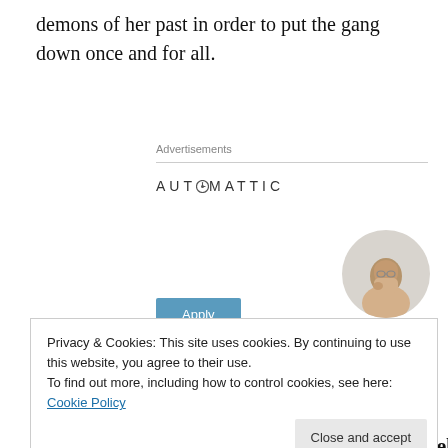demons of her past in order to put the gang down once and for all.
Advertisements
[Figure (logo): Automattic logo with stylized compass/clock O]
[Figure (infographic): Advertisement: Build a better web and a better world. Apply button. Circular photo of a man thinking.]
Privacy & Cookies: This site uses cookies. By continuing to use this website, you agree to their use.
To find out more, including how to control cookies, see here: Cookie Policy
For more on the movie this is the website